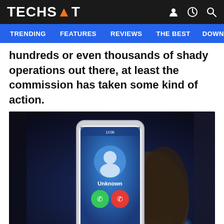TECHSPOT
TRENDING  FEATURES  REVIEWS  THE BEST  DOWNLO
hundreds or even thousands of shady operations out there, at least the commission has taken some kind of action.
[Figure (photo): A hand holding a smartphone showing an incoming call from an unknown number, with green accept and red decline buttons visible on the screen. The background shows a dark room with bokeh city lights.]